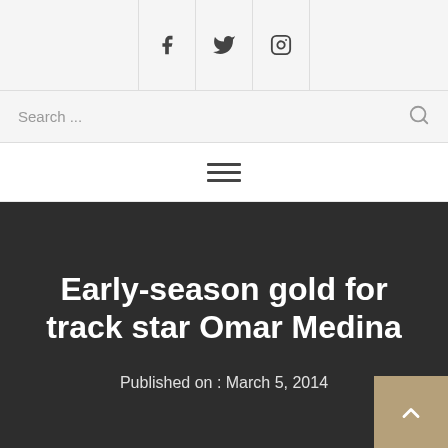Social icons: Facebook, Twitter, Instagram
Search ...
Navigation menu (hamburger)
Early-season gold for track star Omar Medina
Published on : March 5, 2014